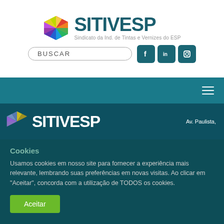[Figure (logo): SITIVESP logo with colorful diamond/polygon icon and text 'SITIVESP' and subtitle 'Sindicato da Ind. de Tintas e Vernizes do ESP']
[Figure (screenshot): Search box with text BUSCAR and three social media icons (Facebook, LinkedIn, Instagram) in teal]
[Figure (screenshot): Teal navigation bar with hamburger menu icon on the right]
[Figure (logo): SITIVESP white logo on dark teal background with address text 'Av. Paulista,' on the right]
Cookies
Usamos cookies em nosso site para fornecer a experiência mais relevante, lembrando suas preferências em novas visitas. Ao clicar em "Aceitar", concorda com a utilização de TODOS os cookies.
Aceitar